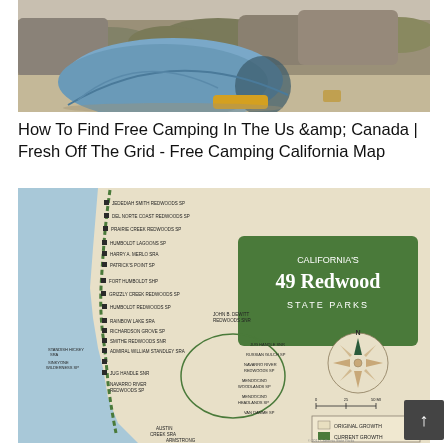[Figure (photo): A blue/grey dome tent set up on sandy/rocky desert terrain with dry shrubs and rocky hillside in the background.]
How To Find Free Camping In The Us &amp;amp; Canada | Fresh Off The Grid - Free Camping California Map
[Figure (map): Map of California's 49 Redwood State Parks showing locations along the coast with park names labeled. Includes compass rose, scale bar, and legend showing Original Growth vs Current Growth. Parks listed include Jedediah Smith Redwoods SP, Del Norte Coast Redwoods SP, Prairie Creek Redwoods SP, Humboldt Lagoons SP, Harry A. Merlo SRA, Patrick's Point SP, Fort Humboldt SHP, Grizzly Creek Redwoods SP, Humboldt Redwoods SP, John B. DeWitt Redwoods SNR, Rainbow Lake SRA, Richardson Grove SP, Smithe Redwoods SNR, Admiral William Standley SRA, Sinkyone Wilderness SP, Standish Hickey SRA, Jug Handle SNR, Russian Gulch SP, Navarro River Redwoods SP, Mendocino Woodlands SP, Mendocino Headlands SP, Van Damme SP, and others.]